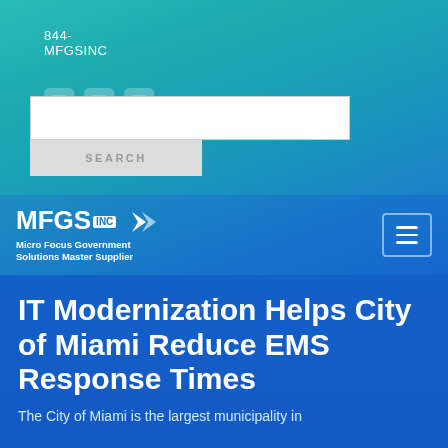844-MFGSINC
[Figure (logo): Social media icons: Facebook, Twitter, LinkedIn (white rounded square icons)]
[Figure (other): Search input text field (white rectangle)]
[Figure (other): SEARCH button (light gray rectangle with SEARCH label)]
[Figure (logo): MFGS INC logo with chevron/arrow icon. Tagline: Micro Focus Government Solutions Master Supplier]
[Figure (other): Hamburger menu icon (three horizontal lines) in bordered rectangle]
IT Modernization Helps City of Miami Reduce EMS Response Times
The City of Miami is the largest municipality in